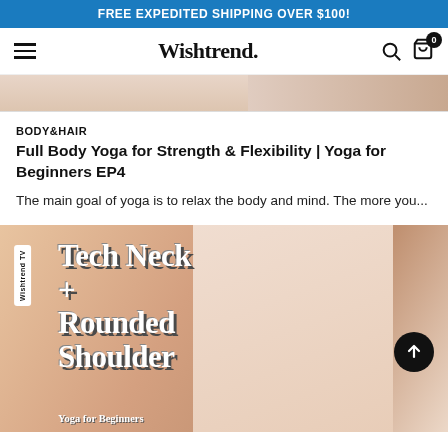FREE EXPEDITED SHIPPING OVER $100!
Wishtrend.
[Figure (photo): Partial view of a yoga pose image strip at the top]
BODY&HAIR
Full Body Yoga for Strength & Flexibility | Yoga for Beginners EP4
The main goal of yoga is to relax the body and mind. The more you...
[Figure (photo): Wishtrend TV thumbnail showing a woman in light green sports top with text 'Tech Neck + Rounded Shoulder' and 'Yoga for Beginners']